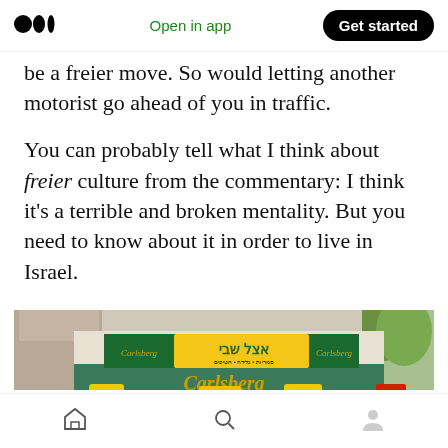Medium logo | Open in app | Get started
be a freier move. So would letting another motorist go ahead of you in traffic.
You can probably tell what I think about freier culture from the commentary: I think it’s a terrible and broken mentality. But you need to know about it in order to live in Israel.
[Figure (photo): Exterior photo of an Israeli convenience store/kiosk with Carlsberg branding. A green Carlsberg awning is visible, along with a sign in Hebrew reading text with the Carlsberg logo on either side.]
Home | Search | Profile navigation icons